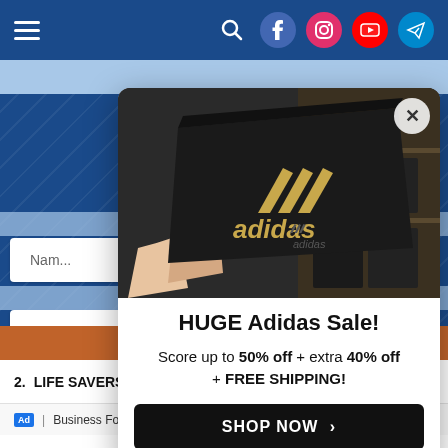[Figure (screenshot): Website screenshot with dark blue diagonal-striped background, top navigation bar with hamburger menu and social media icons (search, Facebook, Instagram, YouTube, Telegram)]
[Figure (photo): Photo of an Adidas shoe box being held up in a store, black box with Adidas logo and three stripes]
HUGE Adidas Sale!
Score up to 50% off + extra 40% off + FREE SHIPPING!
SHOP NOW >
2.  LIFE SAVERS GUMMIES
Ad | Business Focus